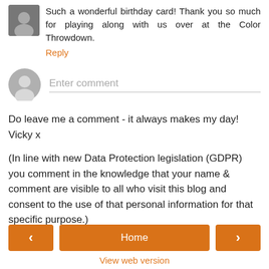Such a wonderful birthday card! Thank you so much for playing along with us over at the Color Throwdown.
Reply
[Figure (other): Gray placeholder avatar circle for comment input]
Enter comment
Do leave me a comment - it always makes my day! Vicky x
(In line with new Data Protection legislation (GDPR) you comment in the knowledge that your name & comment are visible to all who visit this blog and consent to the use of that personal information for that specific purpose.)
‹
Home
›
View web version